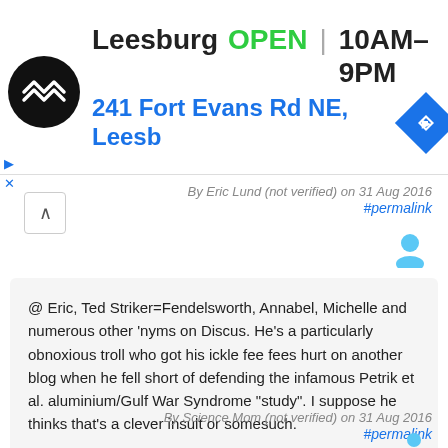[Figure (screenshot): Ad banner showing Leesburg store info: logo, OPEN status, hours 10AM-9PM, address 241 Fort Evans Rd NE, Leesb, navigation arrow icon]
By Eric Lund (not verified) on 31 Aug 2016
#permalink
@ Eric, Ted Striker=Fendelsworth, Annabel, Michelle and numerous other 'nyms on Discus. He's a particularly obnoxious troll who got his ickle fee fees hurt on another blog when he fell short of defending the infamous Petrik et al. aluminium/Gulf War Syndrome "study". I suppose he thinks that's a clever insult or somesuch.
Log in to post comments
By Science Mom (not verified) on 31 Aug 2016
#permalink